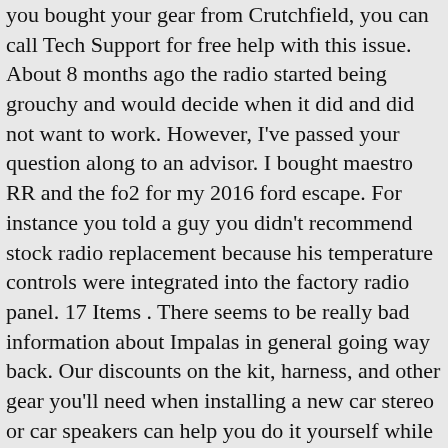you bought your gear from Crutchfield, you can call Tech Support for free help with this issue. About 8 months ago the radio started being grouchy and would decide when it did and did not want to work. However, I've passed your question along to an advisor. I bought maestro RR and the fo2 for my 2016 ford escape. For instance you told a guy you didn't recommend stock radio replacement because his temperature controls were integrated into the factory radio panel. 17 Items . There seems to be really bad information about Impalas in general going way back. Our discounts on the kit, harness, and other gear you'll need when installing a new car stereo or car speakers can help you do it yourself while saving you money. The sound is horrible in this car. I've sent your question to our sales team, and they'll be contacting you via email soon. SYNC Satellite radio HD radio CD Player Driver Information Center radio & navigation displays Ford Pass app